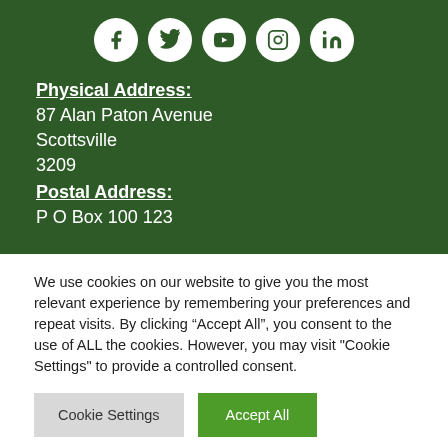[Figure (other): Social media icons row: Facebook, Twitter, YouTube, Instagram, LinkedIn — white circles on dark green background]
Physical Address:
87 Alan Paton Avenue
Scottsville
3209
Postal Address:
P O Box 100 123
We use cookies on our website to give you the most relevant experience by remembering your preferences and repeat visits. By clicking “Accept All”, you consent to the use of ALL the cookies. However, you may visit "Cookie Settings" to provide a controlled consent.
Cookie Settings | Accept All